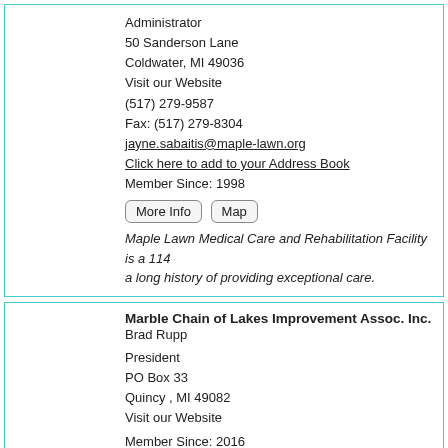Administrator
50 Sanderson Lane
Coldwater, MI 49036
Visit our Website
(517) 279-9587
Fax: (517) 279-8304
jayne.sabaitis@maple-lawn.org
Click here to add to your Address Book
Member Since: 1998
More Info | Map
Maple Lawn Medical Care and Rehabilitation Facility is a 114... a long history of providing exceptional care.
Marble Chain of Lakes Improvement Assoc. Inc.
Brad Rupp
President
PO Box 33
Quincy , MI 49082
Visit our Website
Member Since: 2016
Our mission is to protect, preserve and improve the ecosyste...
Quincy Member/Coldwater Chamber Member